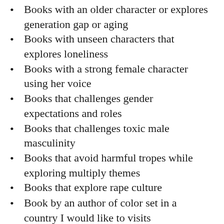Books with an older character or explores generation gap or aging
Books with unseen characters that explores loneliness
Books with a strong female character using her voice
Books that challenges gender expectations and roles
Books that challenges toxic male masculinity
Books that avoid harmful tropes while exploring multiply themes
Books that explore rape culture
Book by an author of color set in a country I would like to visits
Books that challenge or explore women gender oppression